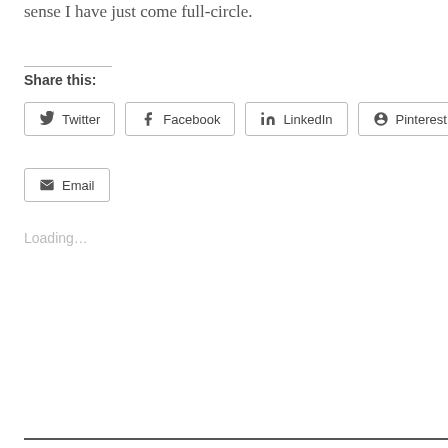sense I have just come full-circle.
Share this:
Twitter
Facebook
LinkedIn
Pinterest
Email
Loading…